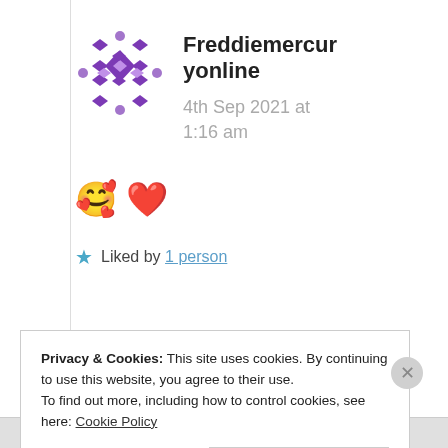[Figure (illustration): Purple geometric diamond-pattern avatar icon for user Freddiemercuryonline]
Freddiemercuryonline
4th Sep 2021 at 1:16 am
🥰 ❤️
★ Liked by 1 person
Privacy & Cookies: This site uses cookies. By continuing to use this website, you agree to their use.
To find out more, including how to control cookies, see here: Cookie Policy
Close and accept